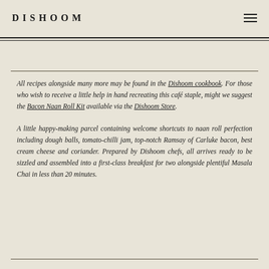DISHOOM
All recipes alongside many more may be found in the Dishoom cookbook. For those who wish to receive a little help in hand recreating this café staple, might we suggest the Bacon Naan Roll Kit available via the Dishoom Store.
A little happy-making parcel containing welcome shortcuts to naan roll perfection including dough balls, tomato-chilli jam, top-notch Ramsay of Carluke bacon, best cream cheese and coriander. Prepared by Dishoom chefs, all arrives ready to be sizzled and assembled into a first-class breakfast for two alongside plentiful Masala Chai in less than 20 minutes.